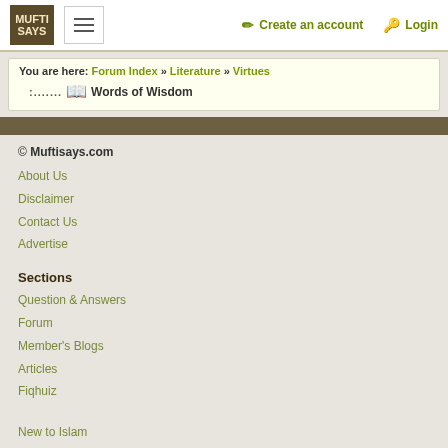MUFTI SAYS | Create an account | Login
You are here: Forum Index » Literature » Virtues
Words of Wisdom
© Muftisays.com
About Us
Disclaimer
Contact Us
Advertise
Sections
Question & Answers
Forum
Member's Blogs
Articles
Fiqhuiz
New to Islam
Muftipedia
Halal Videos
Islamic Fact of the Day